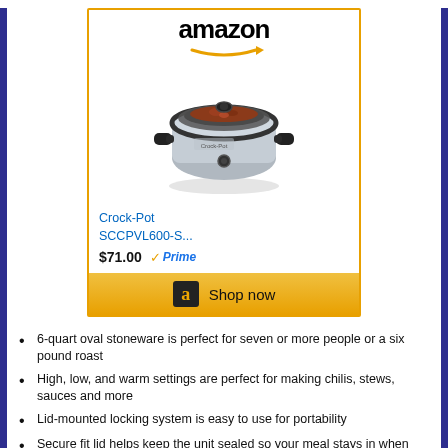[Figure (screenshot): Amazon product listing card for Crock-Pot SCCPVL600-S showing product image, price $71.00, Prime badge, and Shop now button]
6-quart oval stoneware is perfect for seven or more people or a six pound roast
High, low, and warm settings are perfect for making chilis, stews, sauces and more
Lid-mounted locking system is easy to use for portability
Secure fit lid helps keep the unit sealed so your meal stays in when you go out
Measures approximately 15 by 10 by 15 inches